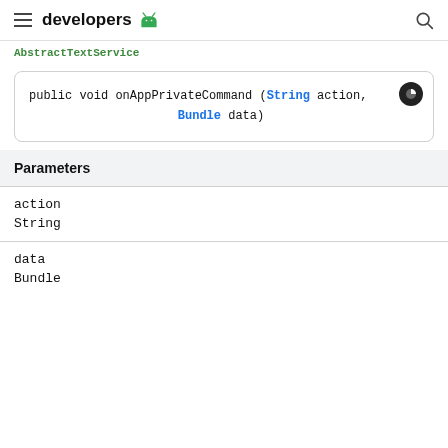developers (Android logo)
AbstractTextService
public void onAppPrivateCommand (String action, Bundle data)
| Parameters |
| --- |
| action |
| String |
| data |
| Bundle |